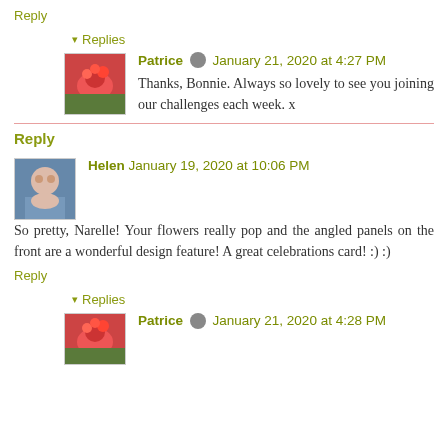Reply
Replies
Patrice  January 21, 2020 at 4:27 PM
Thanks, Bonnie. Always so lovely to see you joining our challenges each week. x
Reply
Helen  January 19, 2020 at 10:06 PM
So pretty, Narelle! Your flowers really pop and the angled panels on the front are a wonderful design feature! A great celebrations card! :) :)
Reply
Replies
Patrice  January 21, 2020 at 4:28 PM